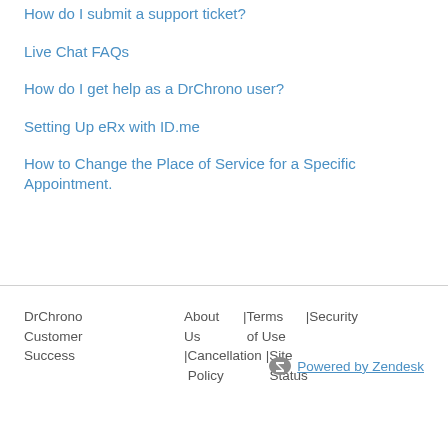How do I submit a support ticket?
Live Chat FAQs
How do I get help as a DrChrono user?
Setting Up eRx with ID.me
How to Change the Place of Service for a Specific Appointment.
DrChrono Customer Success | About Us | Terms of Use | Security | Cancellation Policy | Site Status | Powered by Zendesk